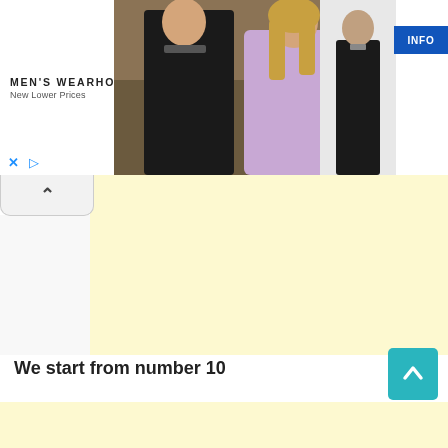[Figure (photo): Men's Wearhouse advertisement banner showing a couple in formalwear (man in dark suit, woman in a dress) on the left, a man in a dark suit on the right, an INFO button, and ad controls (X and play icons). Logo reads MEN'S WEARHOUSE with tagline New Lower Prices.]
[Figure (other): Collapsible ad tab with an up-arrow chevron icon, partially open state showing yellow background area below.]
We start from number 10
[Figure (other): Teal/cyan back-to-top button with upward arrow chevron.]
[Figure (other): Light yellow background area at the bottom of the page.]